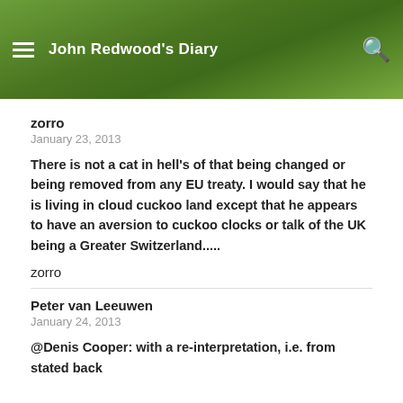John Redwood's Diary
zorro
January 23, 2013
There is not a cat in hell's of that being changed or being removed from any EU treaty. I would say that he is living in cloud cuckoo land except that he appears to have an aversion to cuckoo clocks or talk of the UK being a Greater Switzerland.....
zorro
Peter van Leeuwen
January 24, 2013
@Denis Cooper: with a re-interpretation, i.e. from stated back